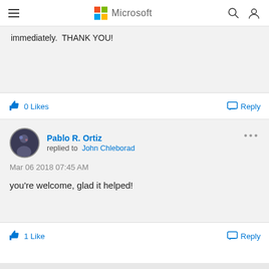Microsoft
immediately.  THANK YOU!
0 Likes   Reply
Pablo R. Ortiz replied to John Chleborad
Mar 06 2018 07:45 AM
you're welcome, glad it helped!
1 Like   Reply